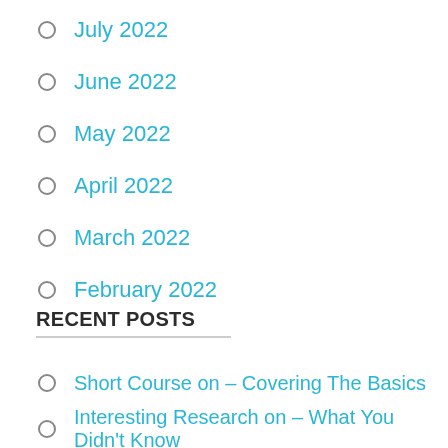July 2022
June 2022
May 2022
April 2022
March 2022
February 2022
RECENT POSTS
Short Course on – Covering The Basics
Interesting Research on – What You Didn't Know
Tips for The Average Joe